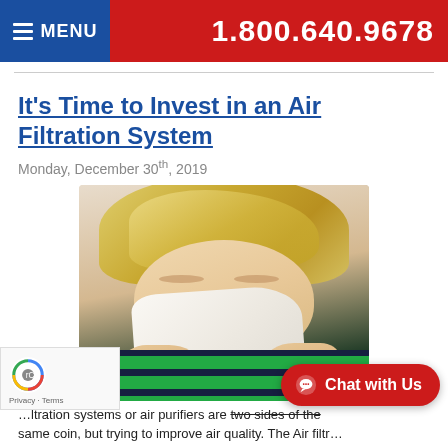MENU   1.800.640.9678
It's Time to Invest in an Air Filtration System
Monday, December 30th, 2019
[Figure (photo): Person with blonde hair blowing their nose into a tissue, wearing a dark navy and green striped shirt]
…ltration systems or air purifiers are two sides of the same coin, but trying to improve air quality. The Air Filtration…